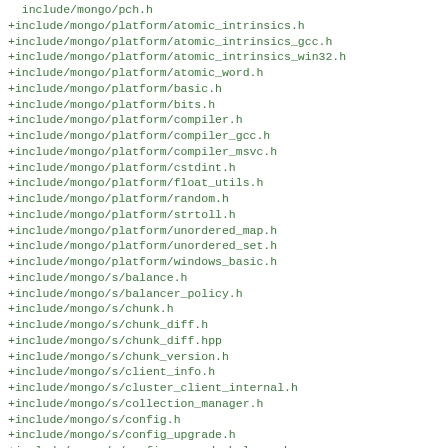include/mongo/pch.h
+include/mongo/platform/atomic_intrinsics.h
+include/mongo/platform/atomic_intrinsics_gcc.h
+include/mongo/platform/atomic_intrinsics_win32.h
+include/mongo/platform/atomic_word.h
+include/mongo/platform/basic.h
+include/mongo/platform/bits.h
+include/mongo/platform/compiler.h
+include/mongo/platform/compiler_gcc.h
+include/mongo/platform/compiler_msvc.h
+include/mongo/platform/cstdint.h
+include/mongo/platform/float_utils.h
+include/mongo/platform/random.h
+include/mongo/platform/strtoll.h
+include/mongo/platform/unordered_map.h
+include/mongo/platform/unordered_set.h
+include/mongo/platform/windows_basic.h
+include/mongo/s/balance.h
+include/mongo/s/balancer_policy.h
+include/mongo/s/chunk.h
+include/mongo/s/chunk_diff.h
+include/mongo/s/chunk_diff.hpp
+include/mongo/s/chunk_version.h
+include/mongo/s/client_info.h
+include/mongo/s/cluster_client_internal.h
+include/mongo/s/collection_manager.h
+include/mongo/s/config.h
+include/mongo/s/config_upgrade.h
+include/mongo/s/config_upgrade_helpers.h
+include/mongo/s/cursors.h
+include/mongo/s/d_chunk_manager.h